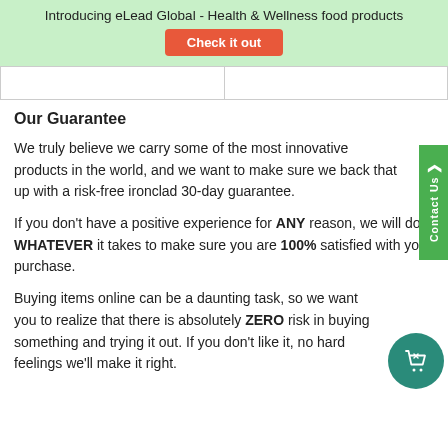Introducing eLead Global - Health & Wellness food products
Check it out
Our Guarantee
We truly believe we carry some of the most innovative products in the world, and we want to make sure we back that up with a risk-free ironclad 30-day guarantee.
If you don't have a positive experience for ANY reason, we will do WHATEVER it takes to make sure you are 100% satisfied with your purchase.
Buying items online can be a daunting task, so we want you to realize that there is absolutely ZERO risk in buying something and trying it out. If you don't like it, no hard feelings we'll make it right.